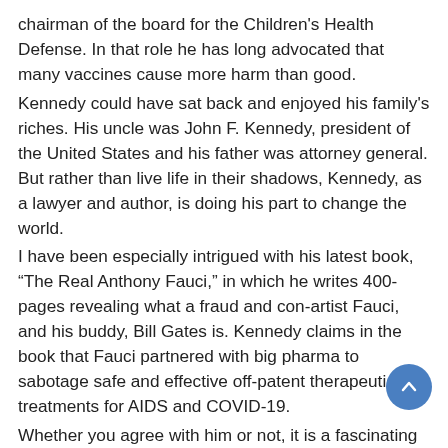chairman of the board for the Children's Health Defense. In that role he has long advocated that many vaccines cause more harm than good.
Kennedy could have sat back and enjoyed his family's riches. His uncle was John F. Kennedy, president of the United States and his father was attorney general. But rather than live life in their shadows, Kennedy, as a lawyer and author, is doing his part to change the world.
I have been especially intrigued with his latest book, “The Real Anthony Fauci,” in which he writes 400-pages revealing what a fraud and con-artist Fauci, and his buddy, Bill Gates is. Kennedy claims in the book that Fauci partnered with big pharma to sabotage safe and effective off-patent therapeutic treatments for AIDS and COVID-19.
Whether you agree with him or not, it is a fascinating read. He doesn’t mince words in his claims that Fauci, nor Gates, are heroes, but instead quite the opposite.
What can you say about Franklin Graham? Son of Billy,